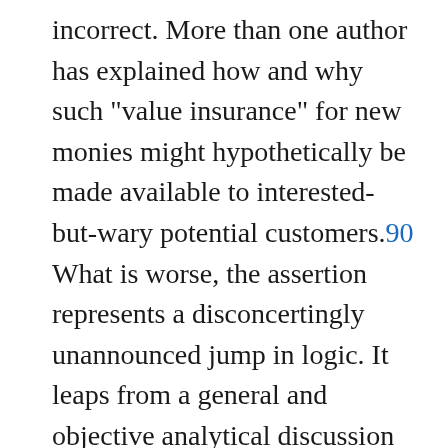incorrect. More than one author has explained how and why such "value insurance" for new monies might hypothetically be made available to interested-but-wary potential customers.90 What is worse, the assertion represents a disconcertingly unannounced jump in logic. It leaps from a general and objective analytical discussion of the issues to a highly specific and essentially entrepreneurial judgment concerning the dimensions in which the market for insurance services could or could not operate in the future. An economist oversteps his bounds in going beyond purely scientific explanations of the operations of the competitive process in the currency industry into the realm of